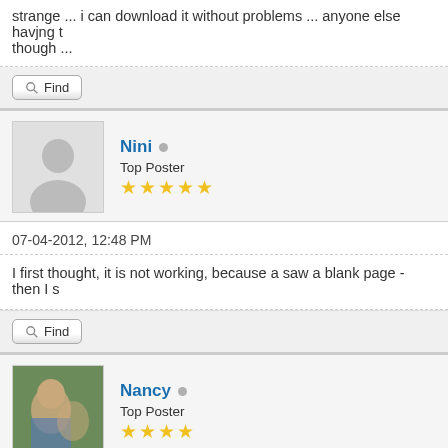strange ... i can download it without problems ... anyone else havjng though ...
Find
Nini • Top Poster ★★★★★
07-04-2012, 12:48 PM
I first thought, it is not working, because a saw a blank page - then I s
Find
Nancy • Top Poster ★★★★